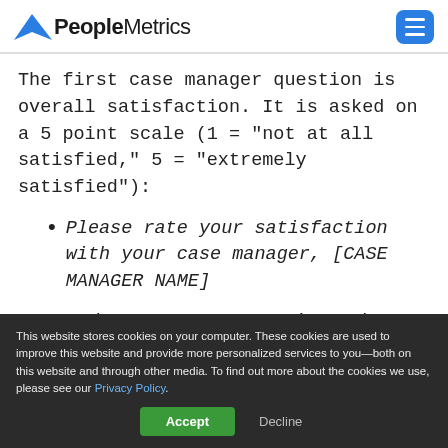PeopleMetrics
The first case manager question is overall satisfaction. It is asked on a 5 point scale (1 = "not at all satisfied," 5 = "extremely satisfied"):
Please rate your satisfaction with your case manager, [CASE MANAGER NAME]
Next, there are two questions that dig into
This website stores cookies on your computer. These cookies are used to improve this website and provide more personalized services to you—both on this website and through other media. To find out more about the cookies we use, please see our Privacy Policy.